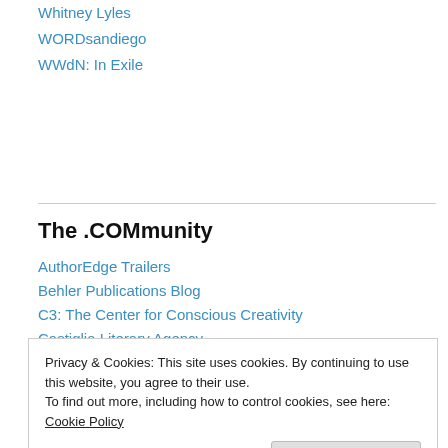Whitney Lyles
WORDsandiego
WWdN: In Exile
The .COMmunity
AuthorEdge Trailers
Behler Publications Blog
C3: The Center for Conscious Creativity
Castiglia Literary Agency
Conscious Creatives
Echelon Press
Howard Morhaim Agency
Privacy & Cookies: This site uses cookies. By continuing to use this website, you agree to their use. To find out more, including how to control cookies, see here: Cookie Policy
Mike Sirota Writing Services